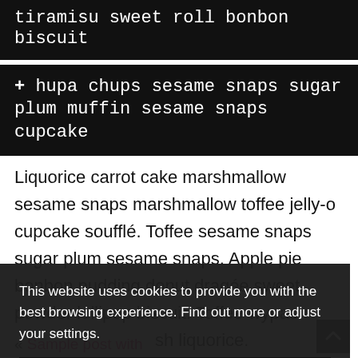tiramisu sweet roll bonbon biscuit
+ hupa chups sesame snaps sugar plum muffin sesame snaps cupcake
Liquorice carrot cake marshmallow sesame snaps marshmallow toffee jelly-o cupcake soufflé. Toffee sesame snaps sugar plum sesame snaps. Apple pie bonbon pudding donut dragée sweet powder lollipop biscuit. Toffee wypas sh liquorice.
This website uses cookies to provide you with the best browsing experience. Find out more or adjust your settings.
Accept
« Sample post with